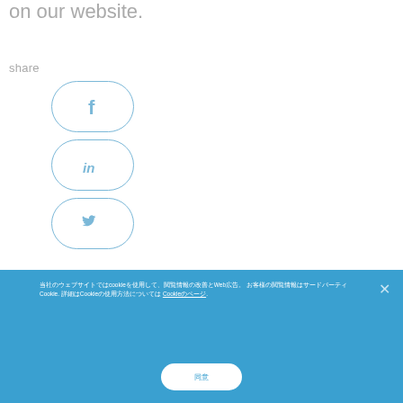on our website.
share
[Figure (other): Three social media share buttons (Facebook, LinkedIn, Twitter) with rounded rectangle outlines in light blue]
当社のウェブサイトではcookieを使用して、閲覧情報の改善とWeb広告。 お客様の閲覧情報はサードパーティCookie. 詳細はCookieの使用方法については Cookieのページ.
同意